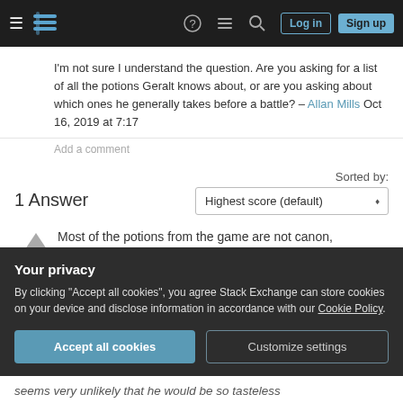Stack Exchange navigation bar with logo, hamburger menu, help, chat, search, Log in, Sign up
I'm not sure I understand the question. Are you asking for a list of all the potions Geralt knows about, or are you asking about which ones he generally takes before a battle? – Allan Mills Oct 16, 2019 at 7:17
Add a comment
1 Answer
Sorted by: Highest score (default)
Most of the potions from the game are not canon, but completely made up by the game developer
Your privacy
By clicking "Accept all cookies", you agree Stack Exchange can store cookies on your device and disclose information in accordance with our Cookie Policy.
seems very unlikely that he would be so tasteless